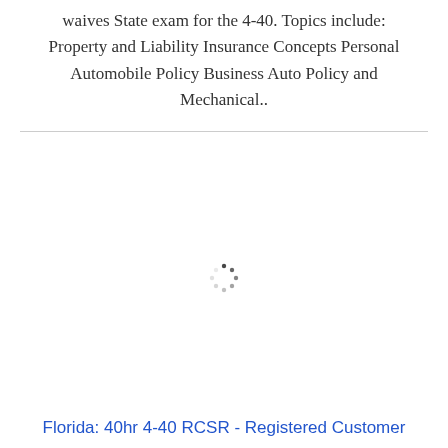waives State exam for the 4-40. Topics include: Property and Liability Insurance Concepts Personal Automobile Policy Business Auto Policy and Mechanical..
[Figure (other): Loading spinner animation indicator — small circular dots arrangement]
Florida: 40hr 4-40 RCSR - Registered Customer